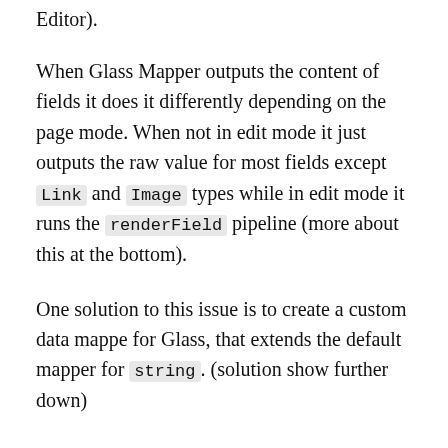Editor).
When Glass Mapper outputs the content of fields it does it differently depending on the page mode. When not in edit mode it just outputs the raw value for most fields except Link and Image types while in edit mode it runs the renderField pipeline (more about this at the bottom).
One solution to this issue is to create a custom data mappe for Glass, that extends the default mapper for string. (solution show further down)
Solution – Custom data